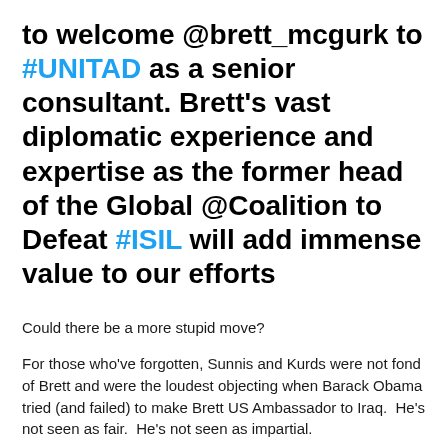to welcome @brett_mcgurk to #UNITAD as a senior consultant. Brett's vast diplomatic experience and expertise as the former head of the Global @Coalition to Defeat #ISIL will add immense value to our efforts
Could there be a more stupid move?
For those who've forgotten, Sunnis and Kurds were not fond of Brett and were the loudest objecting when Barack Obama tried (and failed) to make Brett US Ambassador to Iraq.  He's not seen as fair.  He's not seen as impartial.
We'll return to the press conference tomorrow.  For now, let's